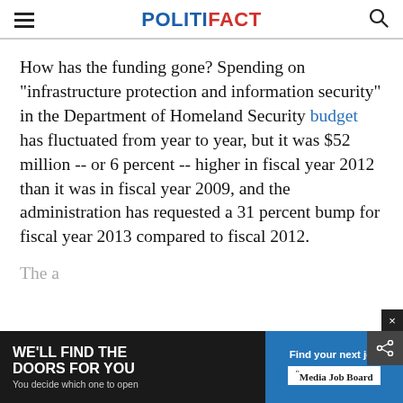POLITIFACT
How has the funding gone? Spending on "infrastructure protection and information security" in the Department of Homeland Security budget has fluctuated from year to year, but it was $52 million -- or 6 percent -- higher in fiscal year 2012 than it was in fiscal year 2009, and the administration has requested a 31 percent bump for fiscal year 2013 compared to fiscal 2012.
The a
[Figure (other): Advertisement banner: 'WE'LL FIND THE DOORS FOR YOU - You decide which one to open' on left, 'Find your next job - Media Job Board' on right]